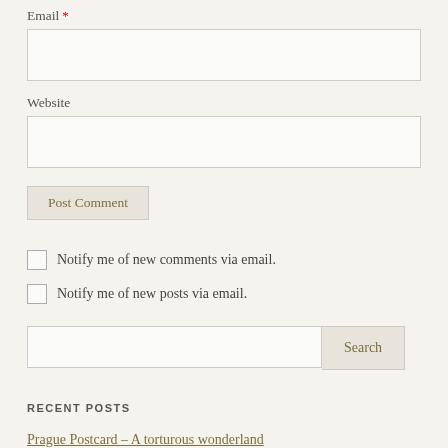Email *
Website
Post Comment
Notify me of new comments via email.
Notify me of new posts via email.
Search
RECENT POSTS
Prague Postcard – A torturous wonderland